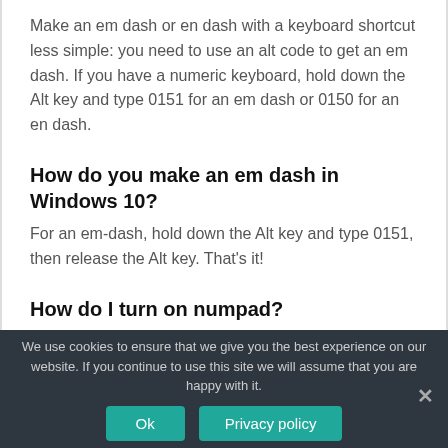Make an em dash or en dash with a keyboard shortcut less simple: you need to use an alt code to get an em dash. If you have a numeric keyboard, hold down the Alt key and type 0151 for an em dash or 0150 for an en dash.
How do you make an em dash in Windows 10?
For an em-dash, hold down the Alt key and type 0151, then release the Alt key. That's it!
How do I turn on numpad?
We use cookies to ensure that we give you the best experience on our website. If you continue to use this site we will assume that you are happy with it.